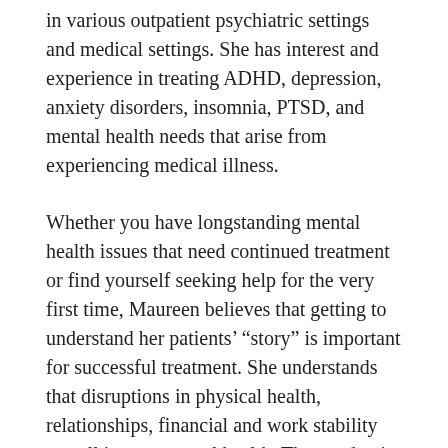in various outpatient psychiatric settings and medical settings. She has interest and experience in treating ADHD, depression, anxiety disorders, insomnia, PTSD, and mental health needs that arise from experiencing medical illness.
Whether you have longstanding mental health issues that need continued treatment or find yourself seeking help for the very first time, Maureen believes that getting to understand her patients' “story” is important for successful treatment. She understands that disruptions in physical health, relationships, financial and work stability can all impact mental health. The pandemic has only heightened issues of isolation, depression, and anxiety for many. Maureen works hard to develop collaborative and safe relationships where issues and symptoms can be